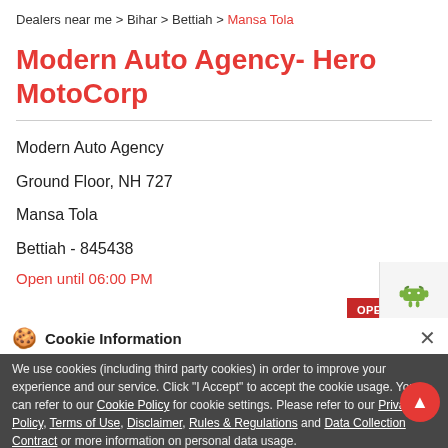Dealers near me > Bihar > Bettiah > Mansa Tola
Modern Auto Agency- Hero MotoCorp
Modern Auto Agency
Ground Floor, NH 727
Mansa Tola
Bettiah - 845438
Open until 06:00 PM
Sales   Service
CALL   DIRECTIONS
Cookie Information
We use cookies (including third party cookies) in order to improve your experience and our service. Click "I Accept" to accept the cookie usage. You can refer to our Cookie Policy for cookie settings. Please refer to our Privacy Policy, Terms of Use, Disclaimer, Rules & Regulations and Data Collection Contract or more information on personal data usage.
I ACCEPT
LET'S RAISE